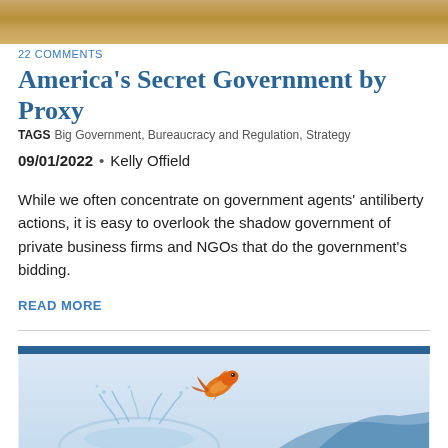[Figure (photo): Top banner image showing sandy/desert texture in warm tan and gold tones]
22 COMMENTS
America's Secret Government by Proxy
TAGS  Big Government, Bureaucracy and Regulation, Strategy
09/01/2022  •  Kelly Offield
While we often concentrate on government agents' antiliberty actions, it is easy to overlook the shadow government of private business firms and NGOs that do the government's bidding.
READ MORE
[Figure (photo): A goldfish leaping out of a glass fishbowl against a light blue sky background, with water splashing below]